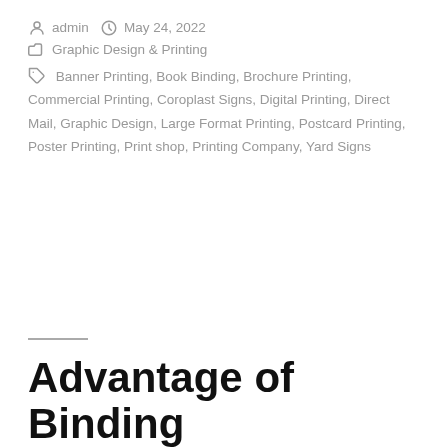admin   May 24, 2022
Graphic Design & Printing
Banner Printing, Book Binding, Brochure Printing, Commercial Printing, Coroplast Signs, Digital Printing, Direct Mail, Graphic Design, Large Format Printing, Postcard Printing, Poster Printing, Print shop, Printing Company, Yard Signs
Advantage of Binding Sales Records